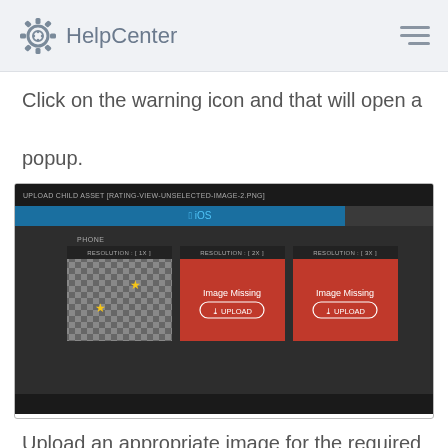HelpCenter
Click on the warning icon and that will open a popup.
[Figure (screenshot): Screenshot of an 'Upload Child Asset' popup dialog showing iPhone resolution slots. One slot has a checkerboard pattern with yellow warning stars, two slots show red panels with 'Image Missing' text and UPLOAD buttons.]
Upload an appropriate image for the required